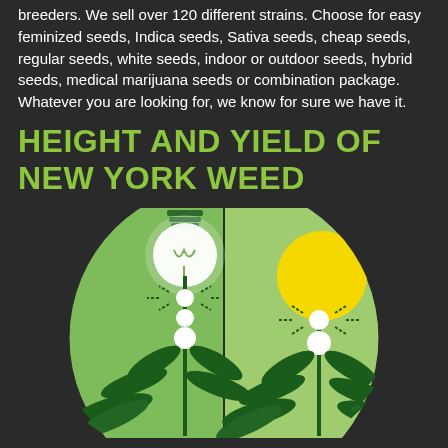breeders. We sell over 120 different strains. Choose for easy feminized seeds, Indica seeds, Sativa seeds, cheap seeds, regular seeds, white seeds, indoor or outdoor seeds, hybrid seeds, medical marijuana seeds or combination package. Whatever you are looking for, we know for sure we have it.
HEIGHT AND YIELD OF NEW YORK WEED
[Figure (illustration): Split circular infographic showing indoor vs outdoor cannabis growing. Left half (light green) shows a hanging light bulb above a cannabis plant. Right half shows a yellow sun above a cannabis plant outdoors. Both sides depict cannabis plants with white glowing nodes on dark green stems and leaves.]